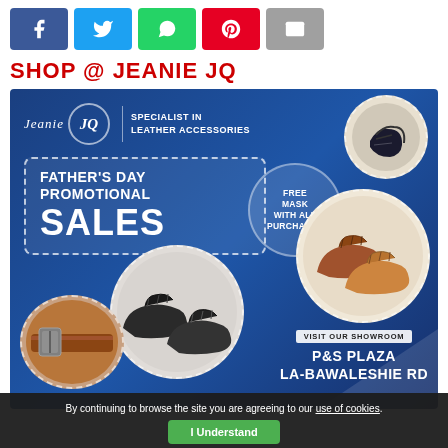[Figure (infographic): Social share buttons row: Facebook (blue), Twitter (light blue), WhatsApp (green), Pinterest (red), Email (grey)]
SHOP @ JEANIE JQ
[Figure (infographic): Jeanie JQ Father's Day Promotional Sales advertisement. Blue background with circular product images: black sandals (top right), brown oxford shoes (middle right), black oxford shoes (bottom center), leather belt (bottom left). Logo: Jeanie JQ Specialist in Leather Accessories. Promo text: FATHER'S DAY PROMOTIONAL SALES. Offer: FREE MASK WITH ALL PURCHASES. Visit Our Showroom: P&S Plaza LA-Bawaleshie RD.]
By continuing to browse the site you are agreeing to our use of cookies.
I Understand